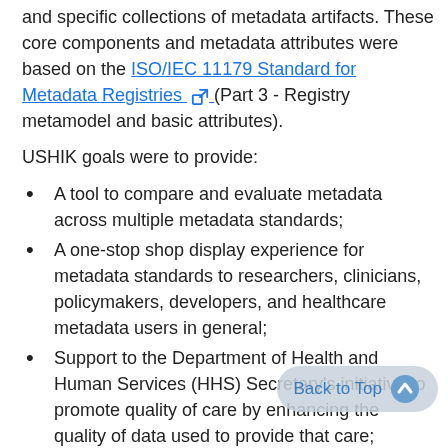and specific collections of metadata artifacts. These core components and metadata attributes were based on the ISO/IEC 11179 Standard for Metadata Registries (Part 3 - Registry metamodel and basic attributes).
USHIK goals were to provide:
A tool to compare and evaluate metadata across multiple metadata standards;
A one-stop shop display experience for metadata standards to researchers, clinicians, policymakers, developers, and healthcare metadata users in general;
Support to the Department of Health and Human Services (HHS) Secretary's initiative to promote quality of care by enhancing the quality of data used to provide that care;
Harmonization across standards; and
Support for various standards-based initiatives from